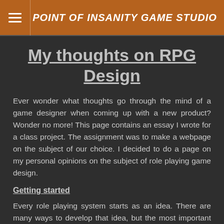POINT OF INSANITY GAME STUDIO
My thoughts on RPG Design
Ever wonder what thoughts go through the mind of a game designer when coming up with a new product? Wonder no more! This page contains an essay I wrote for a class project. The assignment was to make a webpage on the subject of our choice. I decided to do a page on my personal opinions on the subject of role playing game design.
Getting started
Every role playing system starts as an idea. There are many ways to develop that idea, but the most important thing to keep in mind while making an RPG is design the game you want to play! I can't stress this enough. You will be spending many hours testing your system, so it is essential to come up with a system you enjoy playing. More importantly, if you get to the point where you are attending conventions to sell your product you need to be